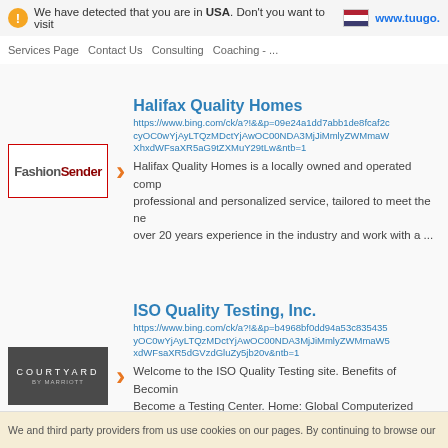We have detected that you are in USA. Don't you want to visit www.tuugo...
Services Page Contact Us Consulting Coaching - ...
Halifax Quality Homes
https://www.bing.com/ck/a?!&&p=09e24a1dd7abb1de8fcaf2c cyOC0wYjAyLTQzMDctYjAwOC00NDA3MjJiMmlyZWMmaWXhxdWFsaXR5aG9tZXMuY29tLw&ntb=1
Halifax Quality Homes is a locally owned and operated comp professional and personalized service, tailored to meet the ne over 20 years experience in the industry and work with a ...
ISO Quality Testing, Inc.
https://www.bing.com/ck/a?!&&p=b4968bf0dd94a53c835435 yOC0wYjAyLTQzMDctYjAwOC00NDA3MjJiMmlyZWMmaW5 xdWFsaXR5dGVzdGluZy5jb20v&ntb=1
Welcome to the ISO Quality Testing site. Benefits of Becomin Become a Testing Center. Home: Global Computerized Exam Center. Becoming an IQT Preferred Testing Center. ...
We and third party providers from us use cookies on our pages. By continuing to browse our